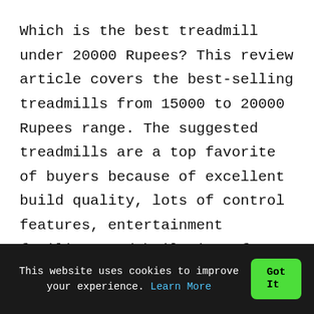Which is the best treadmill under 20000 Rupees? This review article covers the best-selling treadmills from 15000 to 20000 Rupees range. The suggested treadmills are a top favorite of buyers because of excellent build quality, lots of control features, entertainment facility, and built-in safety.
► 1.75HP PowerMax TDM-98 Fitness Treadmill
This website uses cookies to improve your experience. Learn More  Got It